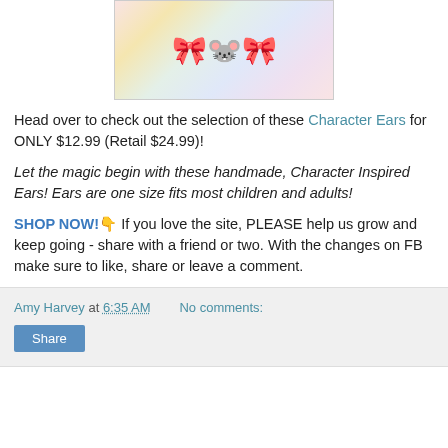[Figure (photo): Multiple colorful Disney character inspired ear headbands arranged in a row, featuring various designs including Minnie Mouse, unicorn, pineapple, and other character themes with bows and decorations.]
Head over to check out the selection of these Character Ears for ONLY $12.99 (Retail $24.99)!
Let the magic begin with these handmade, Character Inspired Ears! Ears are one size fits most children and adults!
SHOP NOW!👇 If you love the site, PLEASE help us grow and keep going - share with a friend or two. With the changes on FB make sure to like, share or leave a comment.
Amy Harvey at 6:35 AM   No comments:
Share